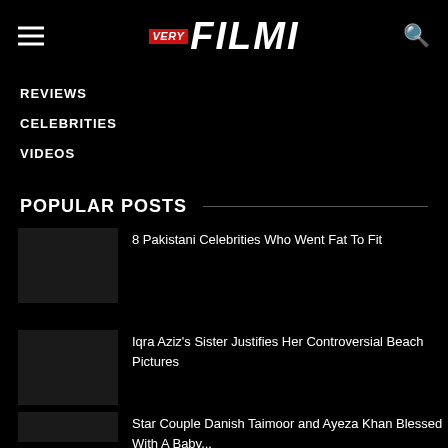VERY FILMI
REVIEWS
CELEBRITIES
VIDEOS
POPULAR POSTS
8 Pakistani Celebrities Who Went Fat To Fit
Iqra Aziz's Sister Justifies Her Controversial Beach Pictures
Star Couple Danish Taimoor and Ayeza Khan Blessed With A Baby...